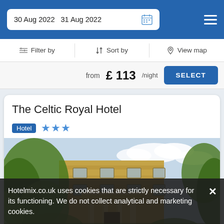30 Aug 2022  31 Aug 2022
Filter by   Sort by   View map
from £ 113/night   SELECT
The Celtic Royal Hotel
Hotel ★★★
[Figure (photo): Exterior photo of The Celtic Royal Hotel, a stone building with columns and surrounding trees and shrubs]
Hotelmix.co.uk uses cookies that are strictly necessary for its functioning. We do not collect analytical and marketing cookies.